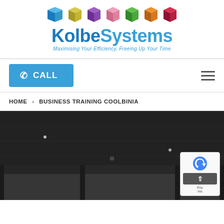[Figure (logo): KolbeSystems logo with colored 3D cubes (blue, yellow, purple, pink, green, orange, red) above the brand name 'KolbeSystems' and tagline 'Maximising Your Efficiency, Freeing Up Your Time']
✆ CALL
HOME > BUSINESS TRAINING COOLBINIA
[Figure (photo): Dark grayscale interior photo showing a ceiling with recessed lighting and floor-to-ceiling windows with a dark frame structure, dark atmospheric interior]